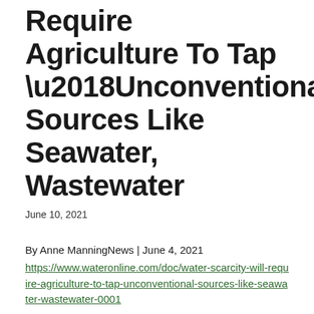Require Agriculture To Tap ‘Unconventional’ Sources Like Seawater, Wastewater
June 10, 2021
By Anne ManningNews | June 4, 2021
https://www.wateronline.com/doc/water-scarcity-will-require-agriculture-to-tap-unconventional-sources-like-seawater-wastewater-0001
Though about 70% of the Earth is covered in oceans, humanity’s water needs are met by less than 1% of the planet’s total water, in the form of aquifers or snowpack-fed rivers. We pump it from the ground, treat it, drink it or spray it